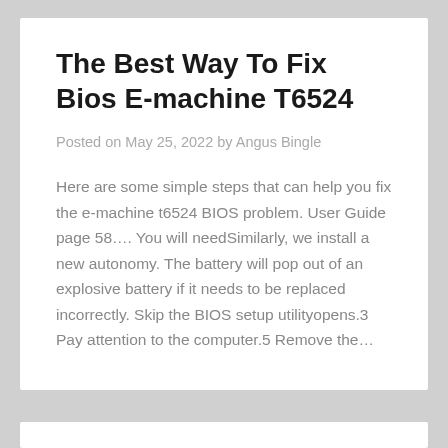The Best Way To Fix Bios E-machine T6524
Posted on May 25, 2022 by Angus Bingle
Here are some simple steps that can help you fix the e-machine t6524 BIOS problem. User Guide page 58…. You will needSimilarly, we install a new autonomy. The battery will pop out of an explosive battery if it needs to be replaced incorrectly. Skip the BIOS setup utilityopens.3 Pay attention to the computer.5 Remove the…